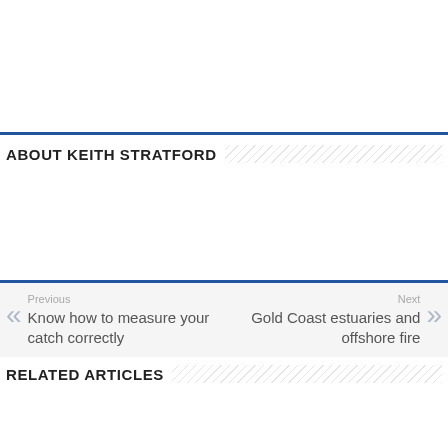ABOUT KEITH STRATFORD
Previous
Know how to measure your catch correctly
Next
Gold Coast estuaries and offshore fire
RELATED ARTICLES